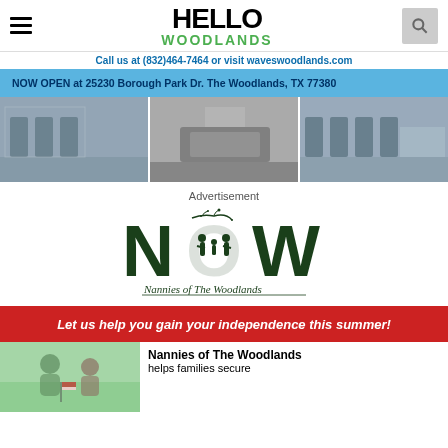HELLO WOODLANDS
Call us at (832)464-7464 or visit waveswoodlands.com
NOW OPEN at 25230 Borough Park Dr. The Woodlands, TX 77380
[Figure (photo): Three interior photos of a hair salon showing styling chairs, mirrors, and reception area]
Advertisement
[Figure (logo): Nannies of The Woodlands logo with stylized N-O-W lettering and silhouettes of adults and children]
Let us help you gain your independence this summer!
[Figure (photo): Photo of couple outdoors with American flag]
Nannies of The Woodlands helps families secure